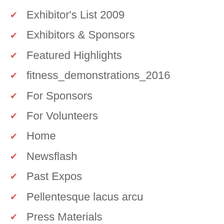Exhibitor's List 2009
Exhibitors & Sponsors
Featured Highlights
fitness_demonstrations_2016
For Sponsors
For Volunteers
Home
Newsflash
Past Expos
Pellentesque lacus arcu
Press Materials
Press Releases